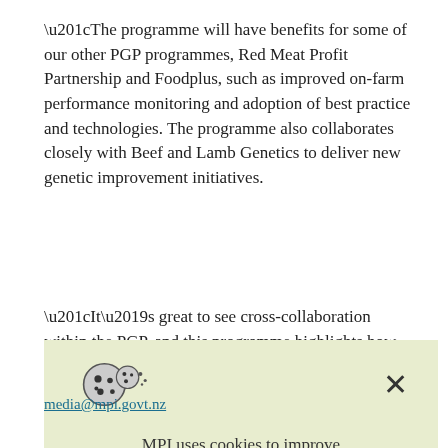“The programme will have benefits for some of our other PGP programmes, Red Meat Profit Partnership and Foodplus, such as improved on-farm performance monitoring and adoption of best practice and technologies. The programme also collaborates closely with Beef and Lamb Genetics to deliver new genetic improvement initiatives.
“It’s great to see cross-collaboration within the PGP, and this programme highlights how the PGP is providing a
[Figure (screenshot): Cookie consent banner with light green background, cookie icon, close X button, and text: MPI uses cookies to improve your experience on our site. By using our website, you accept our use of cookies.]
media@mpi.govt.nz
Murray Brown, Alliance Group General Manager Marketing